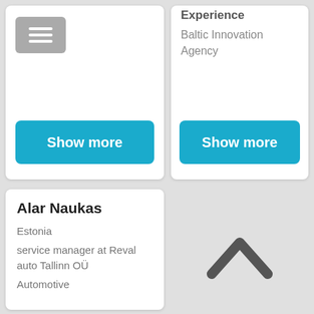[Figure (screenshot): Menu hamburger icon button in gray rounded rectangle]
Experience
Baltic Innovation Agency
Show more
Show more
Alar Naukas
Estonia
service manager at Reval auto Tallinn OÜ
Automotive
[Figure (illustration): Chevron/caret up arrow icon for back to top navigation]